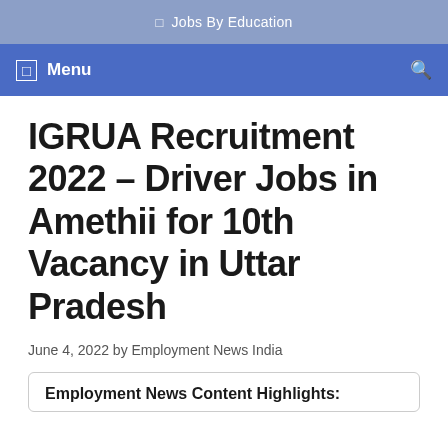Jobs By Education
Menu
IGRUA Recruitment 2022 – Driver Jobs in Amethii for 10th Vacancy in Uttar Pradesh
June 4, 2022 by Employment News India
Employment News Content Highlights: